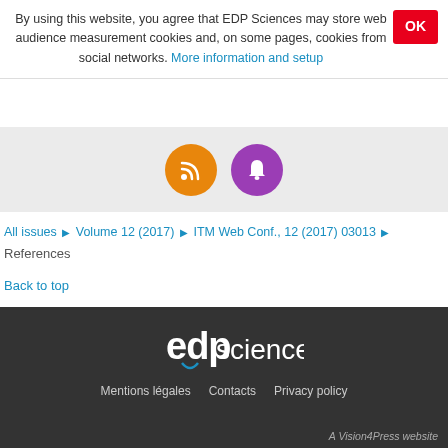By using this website, you agree that EDP Sciences may store web audience measurement cookies and, on some pages, cookies from social networks. More information and setup
[Figure (illustration): Orange RSS feed icon circle and purple bell/notification icon circle on grey background]
All issues ▶ Volume 12 (2017) ▶ ITM Web Conf., 12 (2017) 03013 ▶ References
Back to top
[Figure (logo): EDP Sciences logo in white on dark background]
Mentions légales   Contacts   Privacy policy
A Vision4Press website